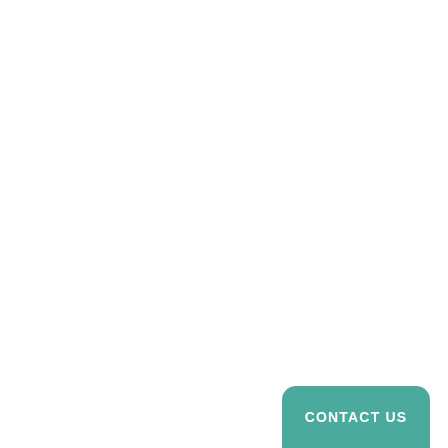[Figure (other): Teal/green rounded rectangle button partially visible at the bottom-right corner of the page, with white uppercase text reading 'CONTACT US']